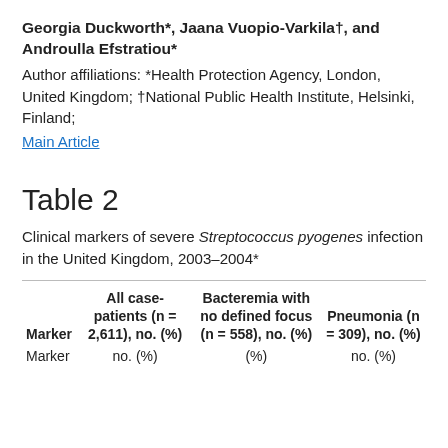Georgia Duckworth*, Jaana Vuopio-Varkila†, and Androulla Efstratiou*
Author affiliations: *Health Protection Agency, London, United Kingdom; †National Public Health Institute, Helsinki, Finland;
Main Article
Table 2
Clinical markers of severe Streptococcus pyogenes infection in the United Kingdom, 2003–2004*
| Marker | All case-patients (n = 2,611), no. (%) | Bacteremia with no defined focus (n = 558), no. (%) | Pneumonia (n = 309), no. (%) |
| --- | --- | --- | --- |
| Marker | no. (%) | (%) | no. (%) |